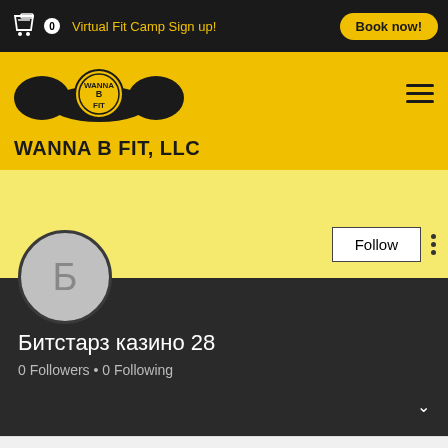Virtual Fit Camp Sign up! | Book now!
WANNA B FIT, LLC
[Figure (logo): WANNA B FIT LLC logo with muscular arms and mustache graphic in black on yellow background]
Follow
Битстарз казино 28
0 Followers • 0 Following
Phone and email contact icons